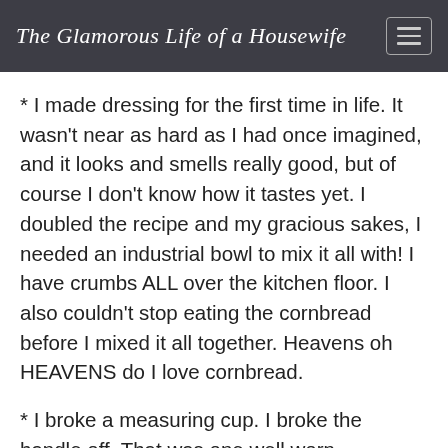The Glamorous Life of a Housewife
* I made dressing for the first time in life. It wasn't near as hard as I had once imagined, and it looks and smells really good, but of course I don't know how it tastes yet. I doubled the recipe and my gracious sakes, I needed an industrial bowl to mix it all with! I have crumbs ALL over the kitchen floor. I also couldn't stop eating the cornbread before I mixed it all together. Heavens oh HEAVENS do I love cornbread.
* I broke a measuring cup. I broke the handle off. That was one well worn measuring cup. I kind of wanted to have a memorial service for